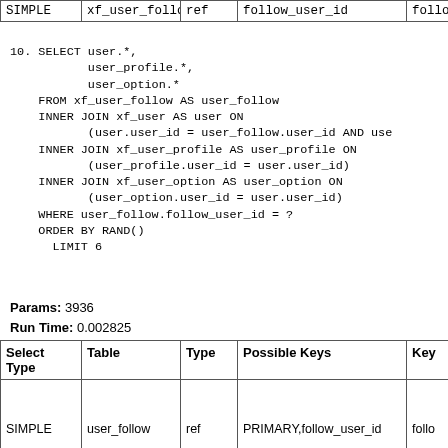| Select Type | Table | Type | Possible Keys | Key |
| --- | --- | --- | --- | --- |
| SIMPLE | xf_user_follow | ref | follow_user_id | follow_user_ |
10. SELECT user.*,
           user_profile.*,
           user_option.*
    FROM xf_user_follow AS user_follow
    INNER JOIN xf_user AS user ON
           (user.user_id = user_follow.user_id AND use...
    INNER JOIN xf_user_profile AS user_profile ON
           (user_profile.user_id = user.user_id)
    INNER JOIN xf_user_option AS user_option ON
           (user_option.user_id = user.user_id)
    WHERE user_follow.follow_user_id = ?
    ORDER BY RAND()
      LIMIT 6
Params: 3936
Run Time: 0.002825
| Select Type | Table | Type | Possible Keys | Key |
| --- | --- | --- | --- | --- |
| SIMPLE | user_follow | ref | PRIMARY,follow_user_id | follo... |